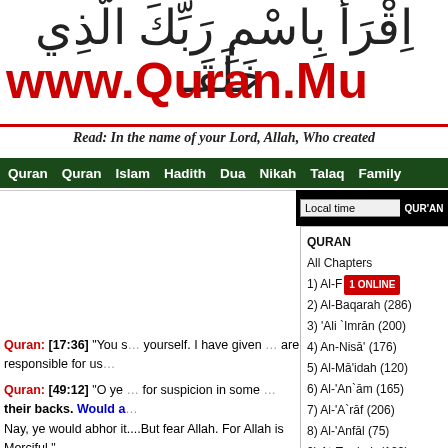[Figure (logo): Arabic text header with www.Quran.Mu website logo and tagline 'Read: In the name of your Lord, Allah, Who created']
Quran  Quran  Islam  Hadith  Dua  Nikah  Talaq  Family
[Figure (screenshot): Website screenshot showing a dropdown panel with Quran chapters list including: QURAN, All Chapters, 1) Al-F... [1 ONLINE badge], 2) Al-Baqarah (286), 3) 'Ali `Imrān (200), 4) An-Nisā' (176), 5) Al-Mā'idah (120), 6) Al-An`ām (165), 7) Al-A`rāf (206), 8) Al-'Anfāl (75), 9) At-Tawbah (129), 10) Yunus (109), 11) Hud (123), 12) Yusuf (111), 13) Ar Ra'd (43). Also shows Local time dropdown and QUR'AN title bar.]
Quran: [17:36] "You s... yourself. I have given ... are responsible for us...
Quran: [49:12] "O ye ... for suspicion in some ... their backs. Would a... Nay, ye would abhor it....But fear Allah. For Allah is Merciful."